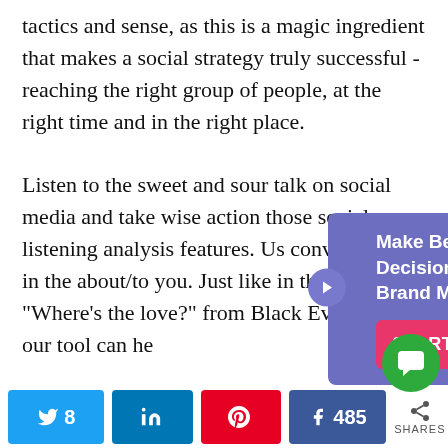tactics and sense, as this is a magic ingredient that makes a social strategy truly successful - reaching the right group of people, at the right time and in the right place.

Listen to the sweet and sour talk on social media and take wise action those social listening analysis features. Us conversations in the about/to you. Just like in that song "Where's the love?" from Black Eved Peas. our tool can he
[Figure (infographic): Popup ad overlay with purple background. Title: 'Make Better Business Decisions Using Our Brand Monitoring Tool'. Button: 'START FREE TRIAL' in red/pink.]
[Figure (infographic): Social share bar at the bottom with Twitter (8), LinkedIn, Pinterest, Facebook (485), and a share icon. Green chat bubble circle icon overlapping the bar.]